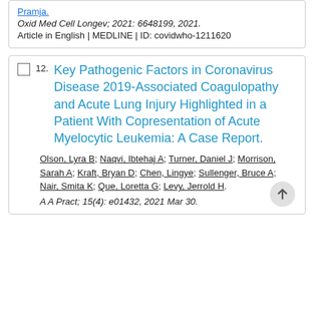Pramja.
Oxid Med Cell Longev; 2021: 6648199, 2021. Article in English | MEDLINE | ID: covidwho-1211620
12. Key Pathogenic Factors in Coronavirus Disease 2019-Associated Coagulopathy and Acute Lung Injury Highlighted in a Patient With Copresentation of Acute Myelocytic Leukemia: A Case Report.
Olson, Lyra B; Naqvi, Ibtehaj A; Turner, Daniel J; Morrison, Sarah A; Kraft, Bryan D; Chen, Lingye; Sullenger, Bruce A; Nair, Smita K; Que, Loretta G; Levy, Jerrold H.
A A Pract; 15(4): e01432, 2021 Mar 30.